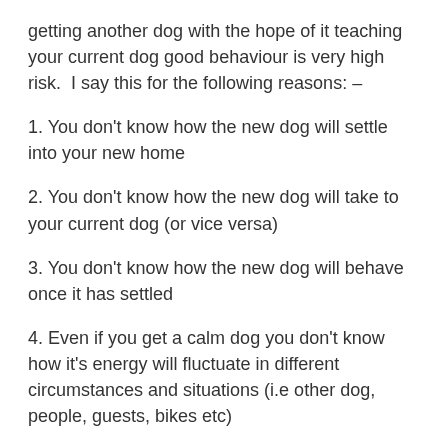getting another dog with the hope of it teaching your current dog good behaviour is very high risk.  I say this for the following reasons: –
1. You don't know how the new dog will settle into your new home
2. You don't know how the new dog will take to your current dog (or vice versa)
3. You don't know how the new dog will behave once it has settled
4. Even if you get a calm dog you don't know how it's energy will fluctuate in different circumstances and situations (i.e other dog, people, guests, bikes etc)
5. The new dog may learn from your dog and you may have to ill-behaved dogs to contend with